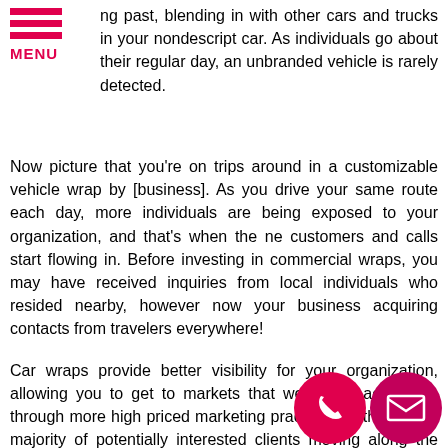ng past, blending in with other cars and trucks in your nondescript car. As individuals go about their regular day, an unbranded vehicle is rarely detected.
Now picture that you're on trips around in a customizable vehicle wrap by [business]. As you drive your same route each day, more individuals are being exposed to your organization, and that's when the ne customers and calls start flowing in. Before investing in commercial wraps, you may have received inquiries from local individuals who resided nearby, however now your business acquiring contacts from travelers everywhere!
Car wraps provide better visibility for your organization, allowing you to get to markets that were only accessible through more high priced marketing practices. With the vast majority of potentially interested clients moving along the same roads that you travel, you will now start finding more local clients who will profit from the solutions you provide! Many Pembroke Pines individuals the ess of going through their regular errands ty re er the same with exp in mind and